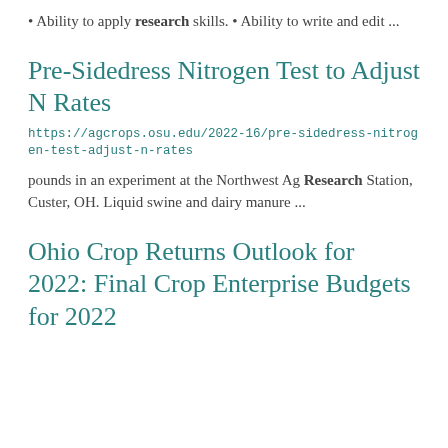• Ability to apply research skills. • Ability to write and edit ...
Pre-Sidedress Nitrogen Test to Adjust N Rates
https://agcrops.osu.edu/2022-16/pre-sidedress-nitrogen-test-adjust-n-rates
pounds in an experiment at the Northwest Ag Research Station, Custer, OH. Liquid swine and dairy manure ...
Ohio Crop Returns Outlook for 2022: Final Crop Enterprise Budgets for 2022